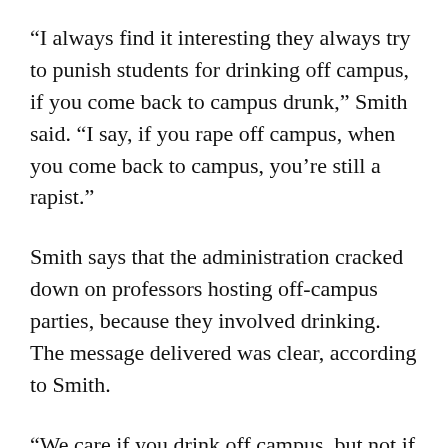“I always find it interesting they always try to punish students for drinking off campus, if you come back to campus drunk,” Smith said. “I say, if you rape off campus, when you come back to campus, you’re still a rapist.”
Smith says that the administration cracked down on professors hosting off-campus parties, because they involved drinking. The message delivered was clear, according to Smith.
“We care if you drink off campus, but not if you rape off campus,” she said.